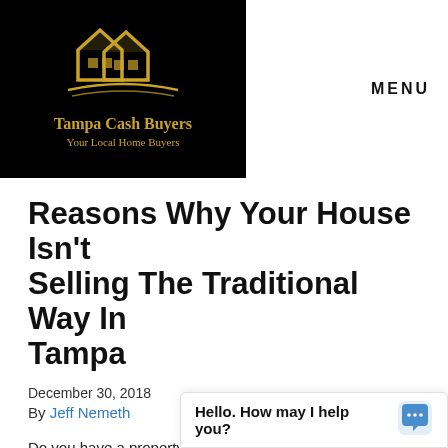[Figure (logo): Tampa Cash Buyers logo — black background with gold house icon, text 'Tampa Cash Buyers' and 'Your Local Home Buyers' in gold]
MENU
Reasons Why Your House Isn't Selling The Traditional Way In Tampa
December 30, 2018
By Jeff Nemeth
Do you have a property that is just sitting on the MLS? It happens quite often, and there are usually similar reasons why it isn't ge... like to see. In our late...
Hello. How may I help you?